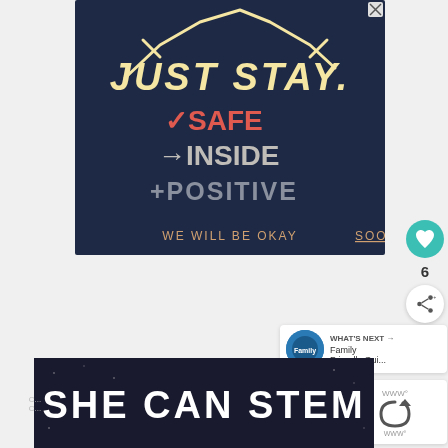[Figure (illustration): Dark navy blue advertisement with hand-drawn style text reading: JUST STAY with a house/roof shape above, then checkmark SAFE, arrow INSIDE, plus POSITIVE, and at the bottom 'WE WILL BE OKAY SOON' with SOON underlined. White and coral/red colored lettering.]
[Figure (illustration): Heart (like/favorite) button — teal circular icon with white heart symbol]
6
[Figure (illustration): Share button — white circular icon with share/network symbol]
WHAT'S NEXT → Family Friendly Gui...
[Figure (illustration): SHE CAN STEM banner — dark background with bold white text SHE CAN STEM]
[Figure (illustration): reCAPTCHA logo with WWW° text]